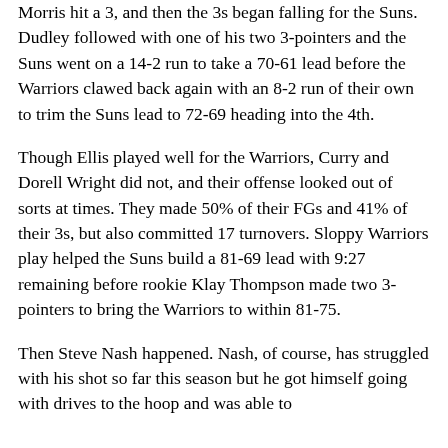Morris hit a 3, and then the 3s began falling for the Suns. Dudley followed with one of his two 3-pointers and the Suns went on a 14-2 run to take a 70-61 lead before the Warriors clawed back again with an 8-2 run of their own to trim the Suns lead to 72-69 heading into the 4th.
Though Ellis played well for the Warriors, Curry and Dorell Wright did not, and their offense looked out of sorts at times. They made 50% of their FGs and 41% of their 3s, but also committed 17 turnovers. Sloppy Warriors play helped the Suns build a 81-69 lead with 9:27 remaining before rookie Klay Thompson made two 3-pointers to bring the Warriors to within 81-75.
Then Steve Nash happened. Nash, of course, has struggled with his shot so far this season but he got himself going with drives to the hoop and was able to